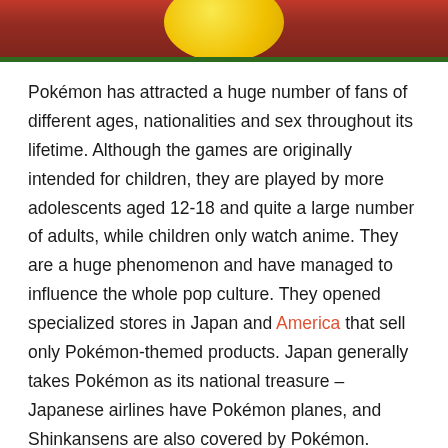[Figure (photo): Partial view of a Pokémon figure or toy with yellow sphere and red/dark background, bottom portion of image visible at top of page]
Pokémon has attracted a huge number of fans of different ages, nationalities and sex throughout its lifetime. Although the games are originally intended for children, they are played by more adolescents aged 12-18 and quite a large number of adults, while children only watch anime. They are a huge phenomenon and have managed to influence the whole pop culture. They opened specialized stores in Japan and America that sell only Pokémon-themed products. Japan generally takes Pokémon as its national treasure – Japanese airlines have Pokémon planes, and Shinkansens are also covered by Pokémon. Pokémons have even established themselves in science,newly discovered animal species Stentorceps weedlei